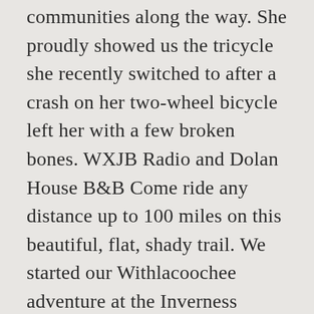communities along the way. She proudly showed us the tricycle she recently switched to after a crash on her two-wheel bicycle left her with a few broken bones. WXJB Radio and Dolan House B&B Come ride any distance up to 100 miles on this beautiful, flat, shady trail. We started our Withlacoochee adventure at the Inverness Bicycle & Fitness shop in downtown Inverness where the owner Sherry hooked us up with a map and other good information, and helped fit us to bike rentals that best suited our needs. There's always something happening here! The Withlacoochee State Trail — "With-la-COO-chee" — is one of the most popular Florida bike trails. Citrus County Visitors Bureau - 915 N Suncoast Blvd, Crystal River,